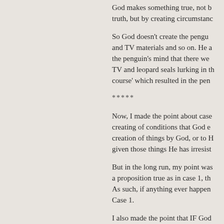God makes something true, not truth, but by creating circumstanc…
So God doesn't create the pengu… and TV materials and so on. He a… the penguin's mind that there we… TV and leopard seals lurking in th… course' which resulted in the pen…
*****
Now, I made the point about case… creating of conditions that God e… creation of things by God, or to H… given those things He has irresist…
But in the long run, my point was… a proposition true as in case 1, th… As such, if anything ever happen… Case 1.
I also made the point that IF God… proposition false per Case 1, THE… think that the most hyper-six-poin…
I do not deny, of course, that the…